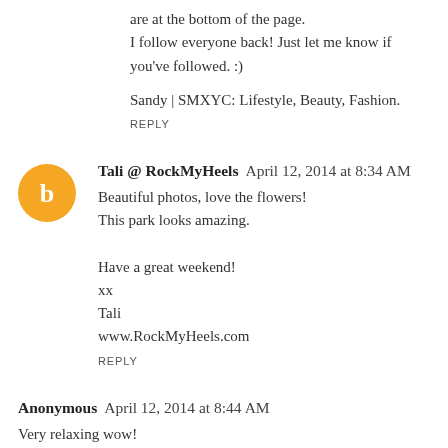are at the bottom of the page.
I follow everyone back! Just let me know if you've followed. :)
Sandy | SMXYC: Lifestyle, Beauty, Fashion.
REPLY
Tali @ RockMyHeels  April 12, 2014 at 8:34 AM
Beautiful photos, love the flowers!
This park looks amazing.

Have a great weekend!
xx
Tali
www.RockMyHeels.com
REPLY
Anonymous  April 12, 2014 at 8:44 AM
Very relaxing wow!
Have a nice week end sweet!